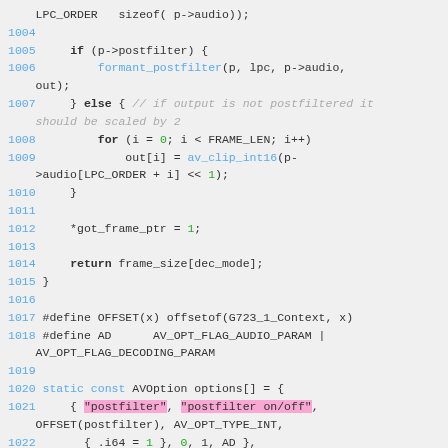[Figure (screenshot): Source code snippet in C showing lines 1004-1022 of a codec decoder implementation (G723_1), with syntax highlighting: line numbers in blue, keywords in bold, function names in blue, string literals highlighted in pink, numeric literals in green, and comments in gray/italic.]